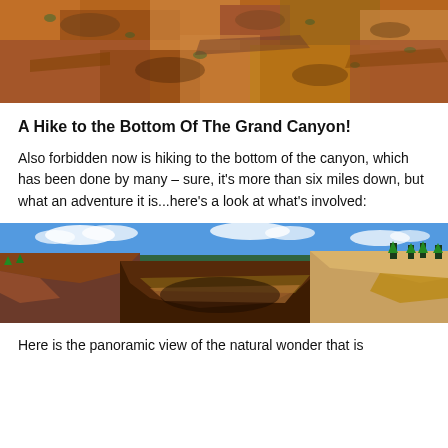[Figure (photo): Aerial/overhead view of reddish-brown rocky canyon terrain with sparse vegetation, warm orange and red tones]
A Hike to the Bottom Of The Grand Canyon!
Also forbidden now is hiking to the bottom of the canyon, which has been done by many – sure, it's more than six miles down, but what an adventure it is...here's a look at what's involved:
[Figure (photo): Panoramic view of the Grand Canyon showing layered red and orange rock formations, deep canyon depths, blue sky with white clouds, green trees on rim edges]
Here is the panoramic view of the natural wonder that is